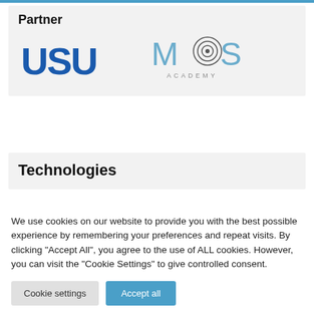Partner
[Figure (logo): USU logo in bold blue letters]
[Figure (logo): MCS Academy logo with concentric circles target icon and text ACADEMY below]
Technologies
We use cookies on our website to provide you with the best possible experience by remembering your preferences and repeat visits. By clicking "Accept All", you agree to the use of ALL cookies. However, you can visit the "Cookie Settings" to give controlled consent.